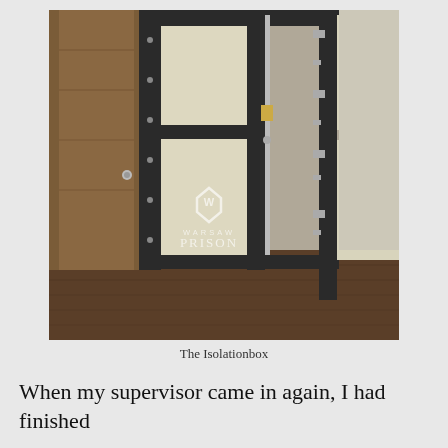[Figure (photo): A black metal isolation box/cage with light wood panels, shown with its door open, standing in a room with wooden flooring. A watermark reads 'WARSAW PRISON' with a logo.]
The Isolationbox
When my supervisor came in again, I had finished